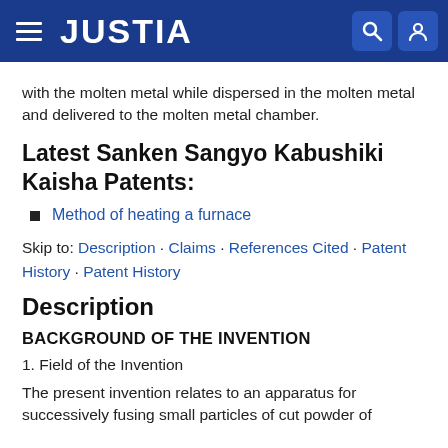JUSTIA
with the molten metal while dispersed in the molten metal and delivered to the molten metal chamber.
Latest Sanken Sangyo Kabushiki Kaisha Patents:
Method of heating a furnace
Skip to: Description · Claims · References Cited · Patent History · Patent History
Description
BACKGROUND OF THE INVENTION
1. Field of the Invention
The present invention relates to an apparatus for successively fusing small particles of cut powder of